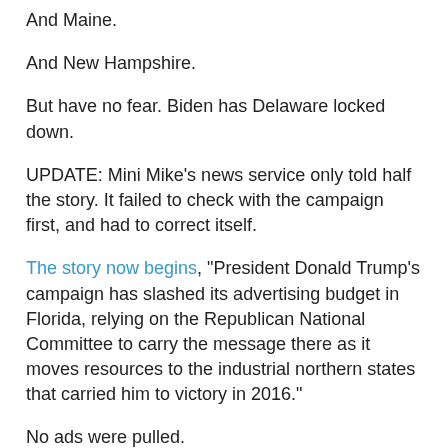And Maine.
And New Hampshire.
But have no fear. Biden has Delaware locked down.
UPDATE: Mini Mike's news service only told half the story. It failed to check with the campaign first, and had to correct itself.
The story now begins, "President Donald Trump's campaign has slashed its advertising budget in Florida, relying on the Republican National Committee to carry the message there as it moves resources to the industrial northern states that carried him to victory in 2016."
No ads were pulled.
Heading north makes sense in that Florida is safe.